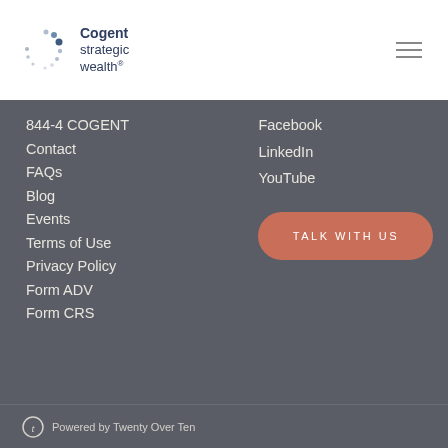[Figure (logo): Cogent Strategic Wealth logo with dots arc and company name]
844-4 COGENT
Contact
FAQs
Blog
Events
Terms of Use
Privacy Policy
Form ADV
Form CRS
Facebook
LinkedIn
YouTube
TALK WITH US
Powered by Twenty Over Ten